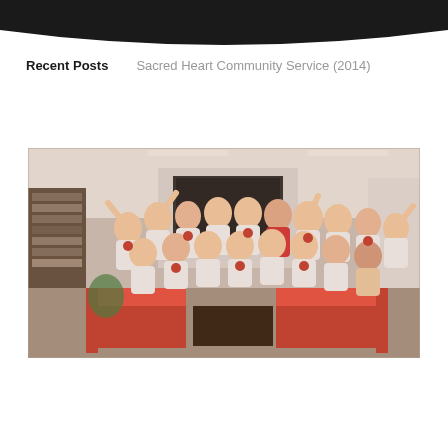Recent Posts
Sacred Heart Community Service (2014)
[Figure (photo): Group photo of approximately 25 people wearing matching white t-shirts with red logos, posing enthusiastically in an office/lounge setting with red sofas, a bookcase, and a large monitor in the background.]